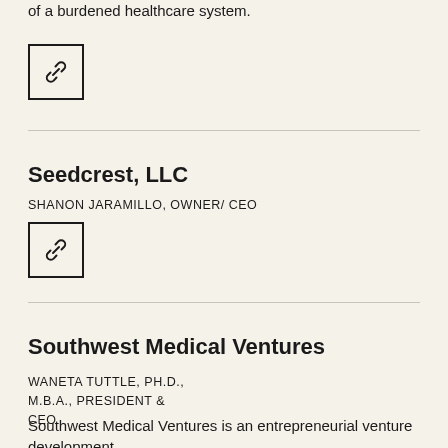of a burdened healthcare system.
[Figure (other): Link/chain icon button in a square border]
Seedcrest, LLC
SHANON JARAMILLO, OWNER/ CEO
[Figure (other): Link/chain icon button in a square border]
Southwest Medical Ventures
WANETA TUTTLE, PH.D., M.B.A., PRESIDENT & CEO
Southwest Medical Ventures is an entrepreneurial venture development